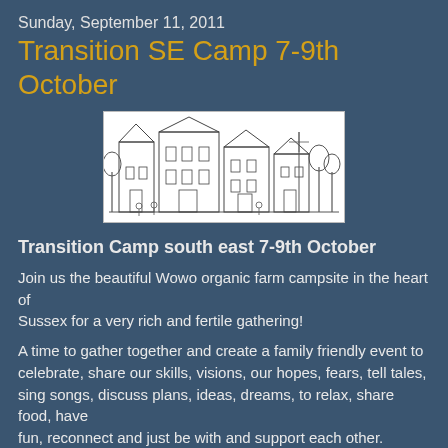Sunday, September 11, 2011
Transition SE Camp 7-9th October
[Figure (illustration): Black and white sketch/illustration of a village scene with buildings, trees, and people]
Transition Camp south east 7-9th October
Join us the beautiful Wowo organic farm campsite in the heart of
Sussex for a very rich and fertile gathering!
A time to gather together and create a family friendly event to celebrate, share our skills, visions, our hopes, fears, tell tales,
sing songs, discuss plans, ideas, dreams, to relax, share food, have
fun, reconnect and just be with and support each other. Marvel at dark
starry skies (hopefully!), sit round open fires, and enjoy a